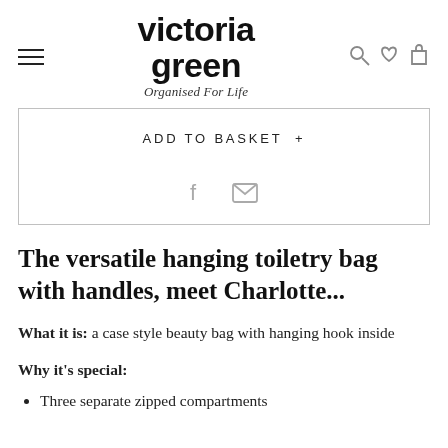victoria green – Organised For Life
ADD TO BASKET +
[Figure (other): Facebook and email share icons]
The versatile hanging toiletry bag with handles, meet Charlotte...
What it is: a case style beauty bag with hanging hook inside
Why it's special:
Three separate zipped compartments